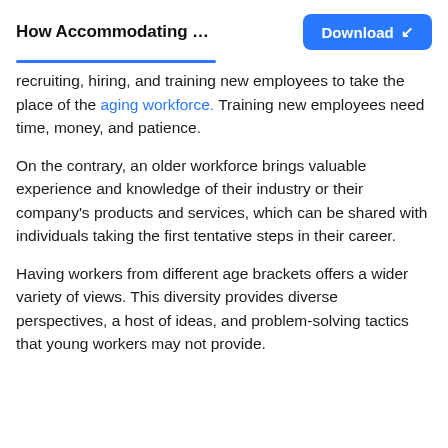How Accommodating …
recruiting, hiring, and training new employees to take the place of the aging workforce. Training new employees need time, money, and patience.
On the contrary, an older workforce brings valuable experience and knowledge of their industry or their company's products and services, which can be shared with individuals taking the first tentative steps in their career.
Having workers from different age brackets offers a wider variety of views. This diversity provides diverse perspectives, a host of ideas, and problem-solving tactics that young workers may not provide.